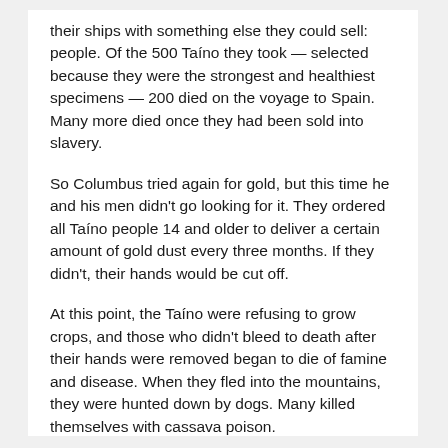their ships with something else they could sell: people. Of the 500 Taíno they took — selected because they were the strongest and healthiest specimens — 200 died on the voyage to Spain. Many more died once they had been sold into slavery.
So Columbus tried again for gold, but this time he and his men didn't go looking for it. They ordered all Taíno people 14 and older to deliver a certain amount of gold dust every three months. If they didn't, their hands would be cut off.
At this point, the Taíno were refusing to grow crops, and those who didn't bleed to death after their hands were removed began to die of famine and disease. When they fled into the mountains, they were hunted down by dogs. Many killed themselves with cassava poison.